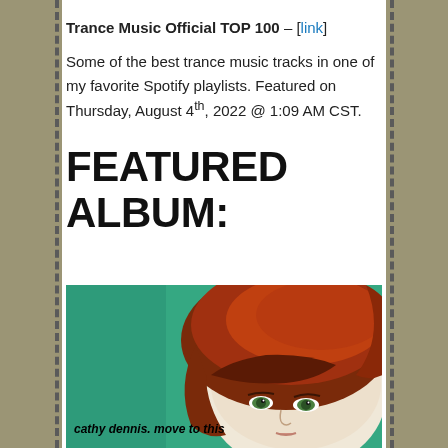Trance Music Official TOP 100 – [link]
Some of the best trance music tracks in one of my favorite Spotify playlists. Featured on Thursday, August 4th, 2022 @ 1:09 AM CST.
FEATURED ALBUM:
[Figure (photo): Album cover for 'cathy dennis. move to this' showing a woman with a red bob haircut against a teal/green background, with text 'cathy dennis. move to this' in the lower left.]